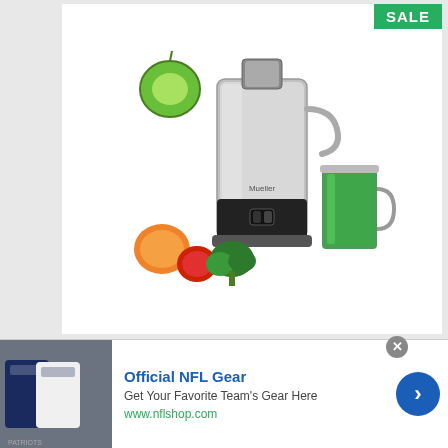[Figure (photo): Mueller juicer machine (silver/black centrifugal juicer) with green juice in a glass, surrounded by fruits and vegetables including an orange, tomato, and broccoli. Green apple visible at top. SALE badge in top-right corner.]
Mueller Juicer Ultra Power, Easy Clean Extractor Press Centrifugal Juicing Machine, Wide 3" Feed Chute for Whole Fruit Vegetable, Anti-drip, High Quality, Large, Silver
[Figure (photo): Advertisement banner for Official NFL Gear showing NFL jerseys/shirts. Text: Official NFL Gear, Get Your Favorite Team's Gear Here, www.nflshop.com. Blue circular arrow button on right. X close button in top right.]